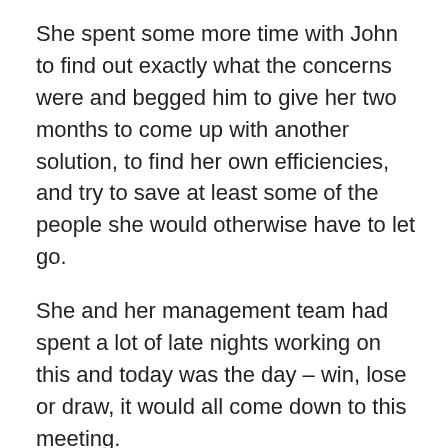She spent some more time with John to find out exactly what the concerns were and begged him to give her two months to come up with another solution, to find her own efficiencies, and try to save at least some of the people she would otherwise have to let go.
She and her management team had spent a lot of late nights working on this and today was the day – win, lose or draw, it would all come down to this meeting.
Sighing, she readjusted her bags and slowly continued the rest of the way up the steps and through security.
She thought of which executives were most likely to be in the meeting this morning. She knew John would be there. He was skeptical, but also seemed like he hoped she'd be able to do it. There were a couple of others who might also